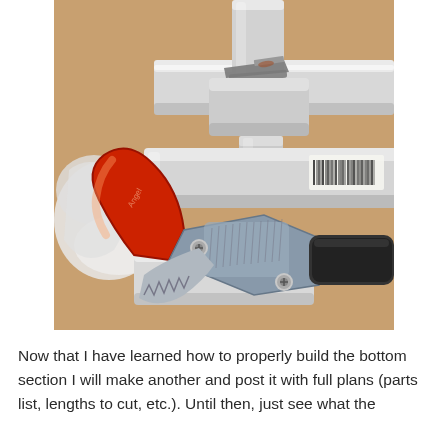[Figure (photo): A photo of white PVC pipes and fittings (including a T-junction connector) laid on a cardboard surface, with a red-handled PVC pipe cutter tool in the foreground. There is also crumpled white tissue paper visible on the left side.]
Now that I have learned how to properly build the bottom section I will make another and post it with full plans (parts list, lengths to cut, etc.). Until then, just see what the